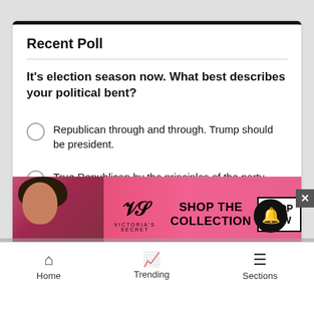Recent Poll
It's election season now. What best describes your political bent?
Republican through and through. Trump should be president.
True Republican by the principles of the party
Democrat, of course, like any rational being.
Progressive to the bone. Democrats are too timid.
I...
[Figure (screenshot): Victoria's Secret advertisement banner with model photo and 'SHOP THE COLLECTION / SHOP NOW' call to action]
Home   Trending   Sections